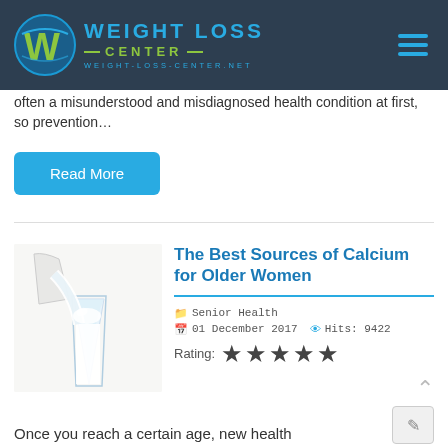[Figure (logo): Weight Loss Center logo with circular W icon and text on dark navy background]
often a misunderstood and misdiagnosed health condition at first, so prevention...
Read More
[Figure (photo): Milk being poured from a bag into a glass on white background]
The Best Sources of Calcium for Older Women
Senior Health  01 December 2017  Hits: 9422
Rating: ★ ★ ★ ★ ★
Once you reach a certain age, new health